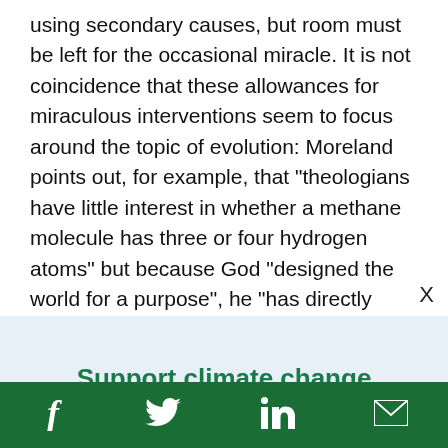using secondary causes, but room must be left for the occasional miracle. It is not coincidence that these allowances for miraculous interventions seem to focus around the topic of evolution: Moreland points out, for example, that "theologians have little interest in whether a methane molecule has three or four hydrogen atoms" but because God "designed the world for a purpose", he "has directly intervened in the
Support climate change
f  [twitter bird]  in  [email icon]